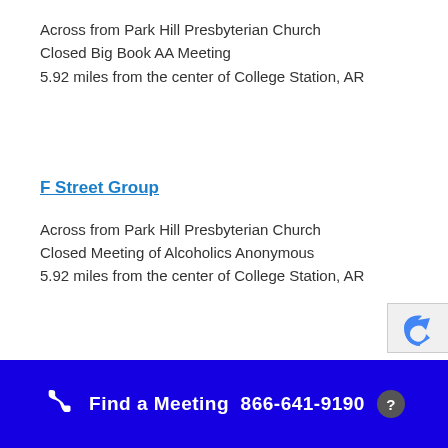Across from Park Hill Presbyterian Church
Closed Big Book AA Meeting
5.92 miles from the center of College Station, AR
F Street Group
Across from Park Hill Presbyterian Church
Closed Meeting of Alcoholics Anonymous
5.92 miles from the center of College Station, AR
Find a Meeting  866-641-9190